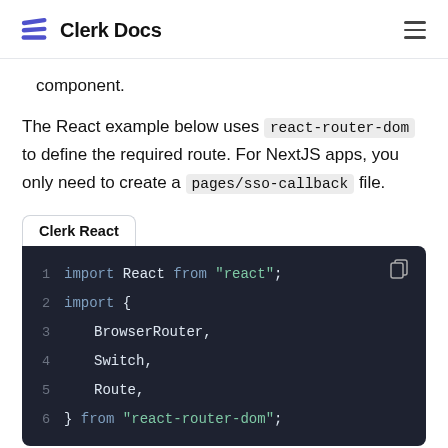Clerk Docs
component.
The React example below uses react-router-dom to define the required route. For NextJS apps, you only need to create a pages/sso-callback file.
[Figure (screenshot): Code block tab labeled 'Clerk React' with dark background showing JavaScript import statements: import React from 'react'; import { BrowserRouter, Switch, Route, } from 'react-router-dom';]